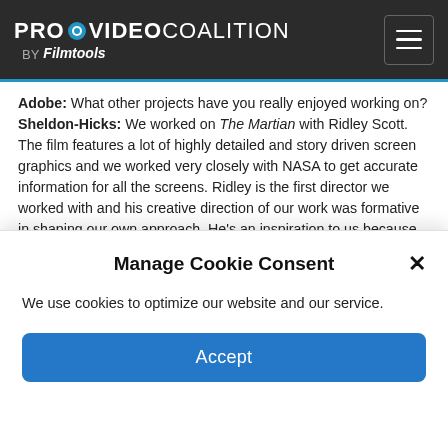PROVIDEO COALITION BY Filmtools
Adobe: What other projects have you really enjoyed working on?
Sheldon-Hicks: We worked on The Martian with Ridley Scott. The film features a lot of highly detailed and story driven screen graphics and we worked very closely with NASA to get accurate information for all the screens. Ridley is the first director we worked with and his creative direction of our work was formative in shaping our own approach. He’s an inspiration to us because he really values the role that screen graphics can play as strong narrative devices and we’re incredibly thrilled to be working with him a second time.

For Guardians of the Galaxy we got a lot of inspiration from the creatives on the film set, including costume design, set...
Manage Cookie Consent
We use cookies to optimize our website and our service.
Accept